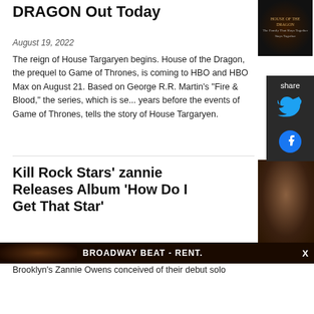DRAGON Out Today
August 19, 2022
[Figure (photo): House of the Dragon promotional image with dark background and golden text]
The reign of House Targaryen begins. House of the Dragon, the prequel to Game of Thrones, is coming to HBO and HBO Max on August 21. Based on George R.R. Martin’s “Fire & Blood,” the series, which is se... years before the events of Game of Thrones, tells the story of House Targaryen.
Kill Rock Stars' zannie Releases Album 'How Do I Get That Star'
August 19, 2022
[Figure (photo): Photo of zannie (Zannie Owens), lying down with dark hair, wearing black jacket]
Brooklyn’s Zannie Owens conceived of their debut solo
BROADWAY BEAT - RENT.